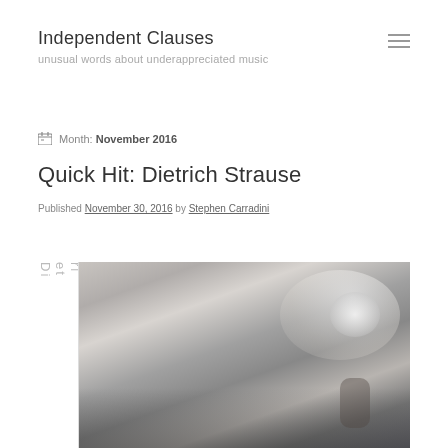Independent Clauses
unusual words about underappreciated music
Month: November 2016
Quick Hit: Dietrich Strause
Published November 30, 2016 by Stephen Carradini
[Figure (photo): Black and white photo of a person holding flowers, likely a wedding bouquet, with fabric visible in the background. Vertical text reading 'Dietrich Strause' appears to the left of the image.]